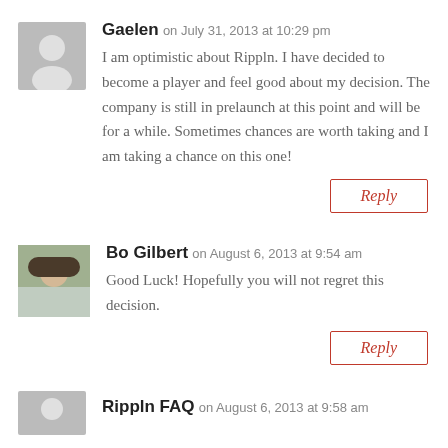[Figure (illustration): Gray placeholder avatar silhouette for user Gaelen]
Gaelen on July 31, 2013 at 10:29 pm
I am optimistic about Rippln. I have decided to become a player and feel good about my decision. The company is still in prelaunch at this point and will be for a while. Sometimes chances are worth taking and I am taking a chance on this one!
Reply
[Figure (photo): Profile photo of Bo Gilbert]
Bo Gilbert on August 6, 2013 at 9:54 am
Good Luck! Hopefully you will not regret this decision.
Reply
[Figure (illustration): Gray placeholder avatar for Rippln FAQ]
Rippln FAQ on August 6, 2013 at 9:58 am